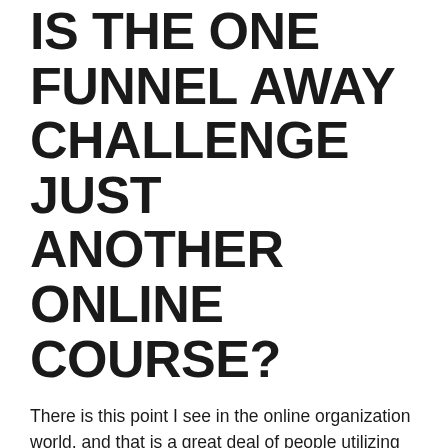IS THE ONE FUNNEL AWAY CHALLENGE JUST ANOTHER ONLINE COURSE?
There is this point I see in the online organization world, and that is a great deal of people utilizing the term ‘on-line course’ to describe any training program or training program.
It is important to note that there is a difference between an on the internet program as well as simply an additional on-line program.